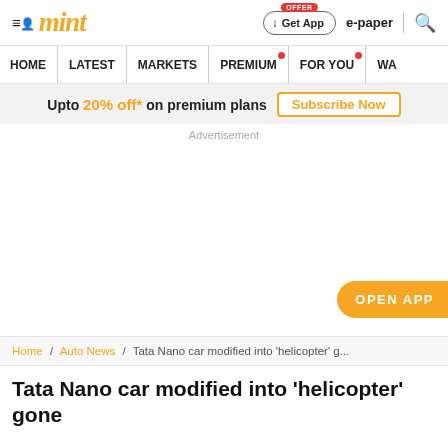mint
HOME | LATEST | MARKETS | PREMIUM | FOR YOU | WA
Upto 20% off* on premium plans  Subscribe Now
Advertisement
OPEN APP
Home / Auto News / Tata Nano car modified into 'helicopter' g...
Tata Nano car modified into 'helicopter' gone